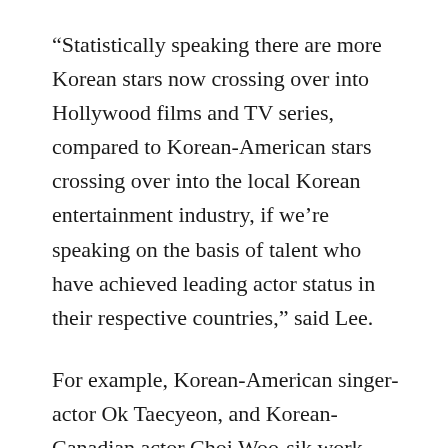“Statistically speaking there are more Korean stars now crossing over into Hollywood films and TV series, compared to Korean-American stars crossing over into the local Korean entertainment industry, if we’re speaking on the basis of talent who have achieved leading actor status in their respective countries,” said Lee.
For example, Korean-American singer-actor Ok Taecyeon, and Korean-Canadian actor Choi Woo-sik work primarily in